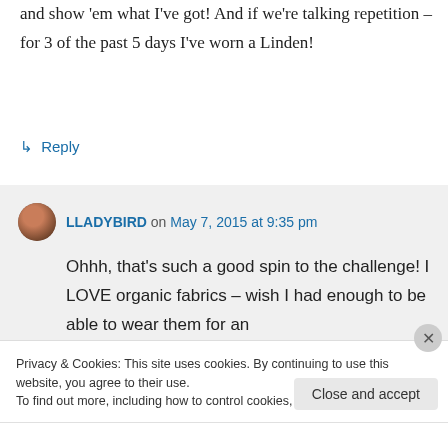and show 'em what I've got! And if we're talking repetition – for 3 of the past 5 days I've worn a Linden!
↳ Reply
LLADYBIRD on May 7, 2015 at 9:35 pm
Ohhh, that's such a good spin to the challenge! I LOVE organic fabrics – wish I had enough to be able to wear them for an
Privacy & Cookies: This site uses cookies. By continuing to use this website, you agree to their use.
To find out more, including how to control cookies, see here: Cookie Policy
Close and accept